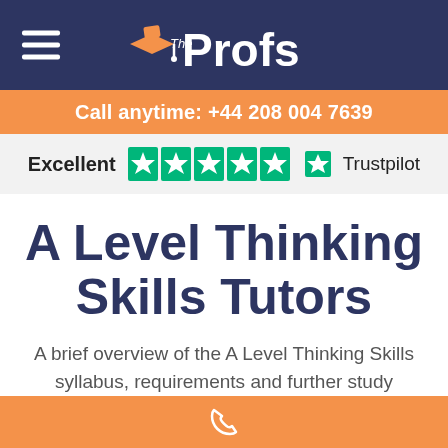[Figure (logo): The Profs logo with graduation cap icon on dark navy background, with hamburger menu icon on the left]
Call anytime: +44 208 004 7639
[Figure (other): Trustpilot rating showing Excellent with 5 green stars and Trustpilot logo on light grey background]
A Level Thinking Skills Tutors
A brief overview of the A Level Thinking Skills syllabus, requirements and further study options from The Profs.
[Figure (other): Orange bottom bar with white phone icon]